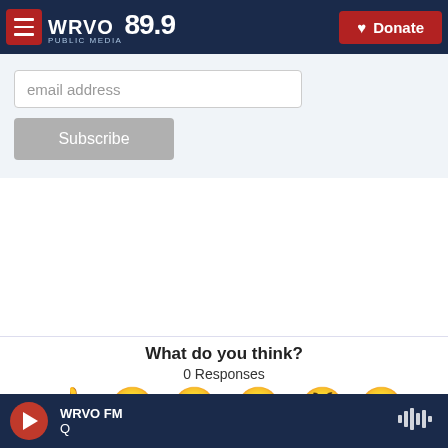WRVO PUBLIC MEDIA 89.9 | Donate
email address
Subscribe
What do you think?
0 Responses
[Figure (infographic): Six emoji reaction buttons: Like (thumbs up), Funny (laughing face with tongue), Love (heart eyes), Surprised (wide-eyed face), Angry (crying/angry face), Sad (tearful face)]
WRVO FM | Q